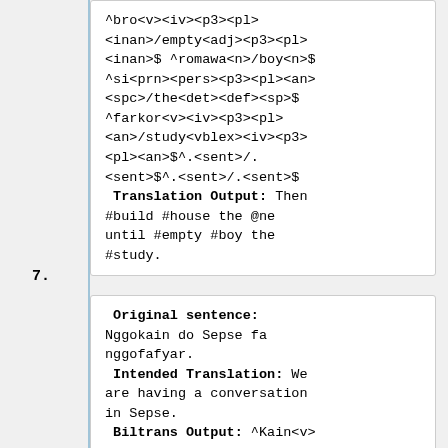^bro<v><iv><p3><pl> <inan>/empty<adj><p3><pl> <inan>$ ^romawa<n>/boy<n>$ ^si<prn><pers><p3><pl><an> <spc>/the<det><def><sp>$ ^farkor<v><iv><p3><pl> <an>/study<vblex><iv><p3> <pl><an>$^.<sent>/. <sent>$^.<sent>/.<sent>$
Translation Output: Then #build #house the @ne until #empty #boy the #study.
7.
Original sentence: Nggokain do Sepse fa nggofafyar. Intended Translation: We are having a conversation in Sepse. Biltrans Output: ^Kain<v>